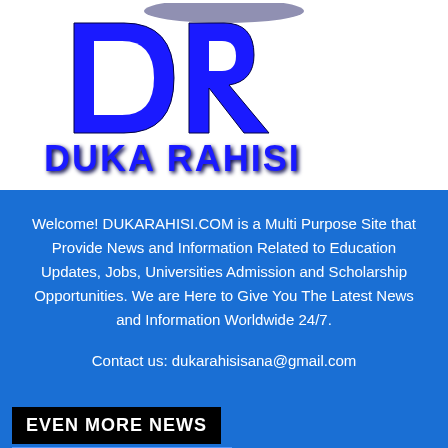[Figure (logo): Duka Rahisi logo with large blue '3D' letters 'DR' and bold blue text 'DUKA RAHISI' below on white background]
Welcome! DUKARAHISI.COM is a Multi Purpose Site that Provide News and Information Related to Education Updates, Jobs, Universities Admission and Scholarship Opportunities. We are Here to Give You The Latest News and Information Worldwide 24/7.
Contact us: dukarahisisana@gmail.com
EVEN MORE NEWS